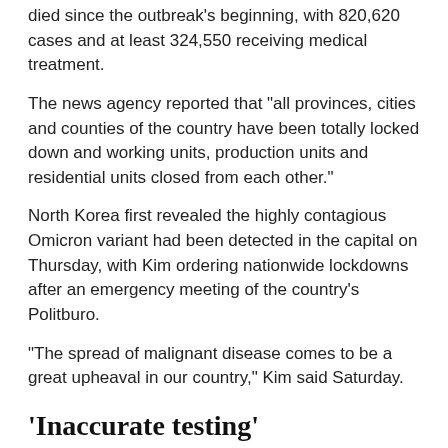died since the outbreak's beginning, with 820,620 cases and at least 324,550 receiving medical treatment.
The news agency reported that "all provinces, cities and counties of the country have been totally locked down and working units, production units and residential units closed from each other."
North Korea first revealed the highly contagious Omicron variant had been detected in the capital on Thursday, with Kim ordering nationwide lockdowns after an emergency meeting of the country's Politburo.
"The spread of malignant disease comes to be a great upheaval in our country," Kim said Saturday.
'Inaccurate testing'
A large number of the deaths have been due to "a lack of knowledge and understanding of the stealth Omicron variant virus infection", KCNA said, adding "urgent" measures were being being taken to educate the public.